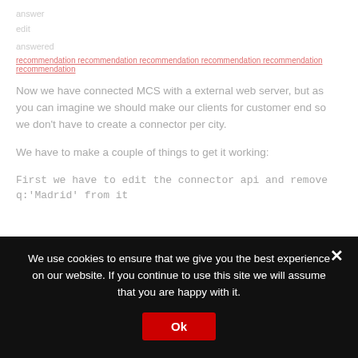Now we have connected MCS with a external web server, but as you can imagine we should make our clients for customer end so we don't have to create a connector per city.
We have to make a couple of things to get it working:
First we have to edit the connector api and remove "q:'Madrid'" from it
We use cookies to ensure that we give you the best experience on our website. If you continue to use this site we will assume that you are happy with it.